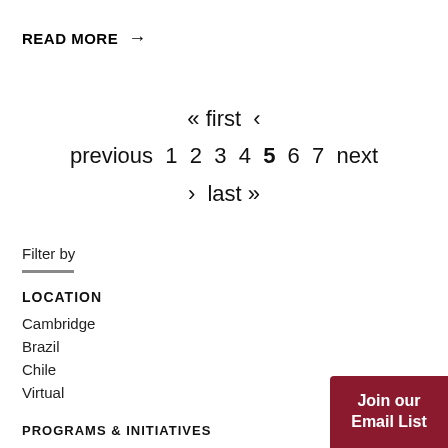READ MORE →
« first ‹ previous 1 2 3 4 5 6 7 next › last »
Filter by
LOCATION
Cambridge
Brazil
Chile
Virtual
PROGRAMS & INITIATIVES
Join our Email List